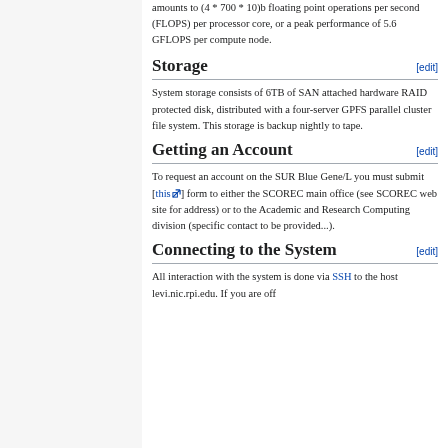amounts to (4 * 700 * 10)b floating point operations per second (FLOPS) per processor core, or a peak performance of 5.6 GFLOPS per compute node.
Storage
System storage consists of 6TB of SAN attached hardware RAID protected disk, distributed with a four-server GPFS parallel cluster file system. This storage is backup nightly to tape.
Getting an Account
To request an account on the SUR Blue Gene/L you must submit [this] form to either the SCOREC main office (see SCOREC web site for address) or to the Academic and Research Computing division (specific contact to be provided...).
Connecting to the System
All interaction with the system is done via SSH to the host levi.nic.rpi.edu. If you are off